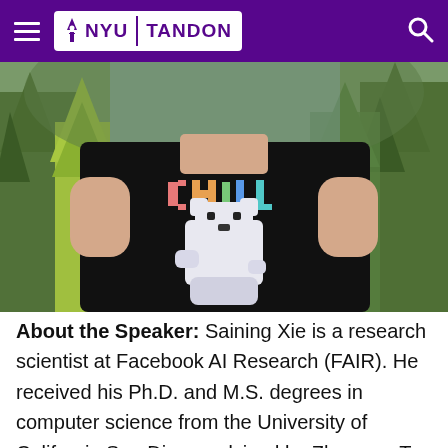NYU TANDON
[Figure (photo): A person wearing a black t-shirt with a pixelated polar bear graphic and the word 'chill' in colorful blocky letters, standing outdoors in front of pine trees.]
About the Speaker: Saining Xie is a research scientist at Facebook AI Research (FAIR). He received his Ph.D. and M.S. degrees in computer science from the University of California San Diego, advised by Zhuowen Tu. Prior to that, he received his Bachelor's degree...